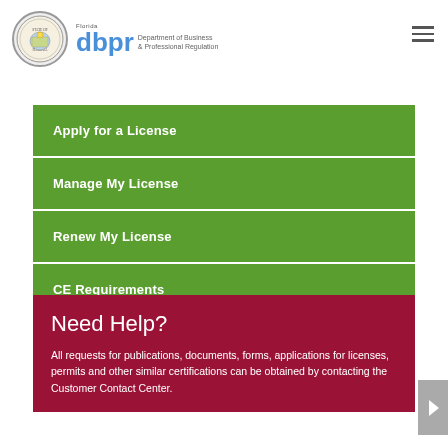[Figure (logo): Florida Department of Business and Professional Regulation (DBPR) logo with Florida state seal]
Apply for a License
Manage My License
Renew My License
CE Requirements
Need Help?
All requests for publications, documents, forms, applications for licenses, permits and other similar certifications can be obtained by contacting the Customer Contact Center.